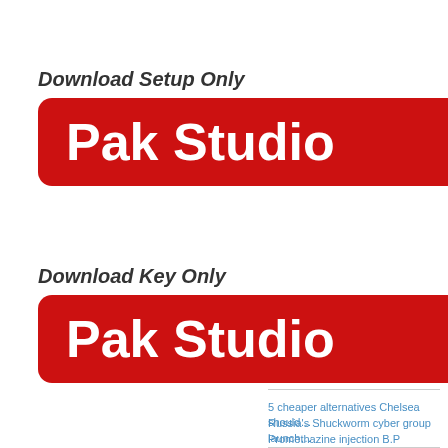Download Setup Only
[Figure (illustration): Red rounded rectangle button with white bold text reading 'Pak Studio']
Download Key Only
[Figure (illustration): Red rounded rectangle button with white bold text reading 'Pak Studio']
5 cheaper alternatives Chelsea should…
Russia's Shuckworm cyber group launch…
Promethazine injection B.P (PROVITA)